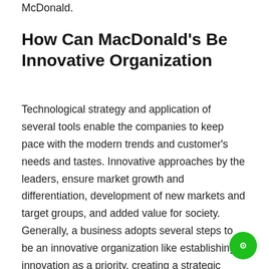McDonald.
How Can MacDonald's Be Innovative Organization
Technological strategy and application of several tools enable the companies to keep pace with the modern trends and customer's needs and tastes. Innovative approaches by the leaders, ensure market growth and differentiation, development of new markets and target groups, and added value for society. Generally, a business adopts several steps to be an innovative organization like establishing innovation as a priority, creating a strategic vision, allocating resources, creating organizational structures, establishing scientific processes that promote collaboration, and training the workforce on creativity to etc. Authorities worked along with the McDonald